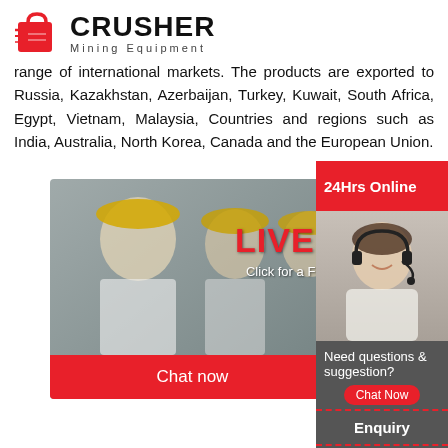[Figure (logo): Crusher Mining Equipment logo with red shopping bag/crusher icon and bold CRUSHER text with Mining Equipment subtitle]
range of international markets. The products are exported to Russia, Kazakhstan, Azerbaijan, Turkey, Kuwait, South Africa, Egypt, Vietnam, Malaysia, Countries and regions such as India, Australia, North Korea, Canada and the European Union.
[Figure (infographic): Live Chat widget showing workers in hard hats with LIVE CHAT heading, Click for a Free Consultation text, Chat now and Chat later buttons. Right panel shows 24Hrs Online, headset customer service agent, Need questions & suggestion? Chat Now button, Enquiry section, limingjlmofen@sina.com email.]